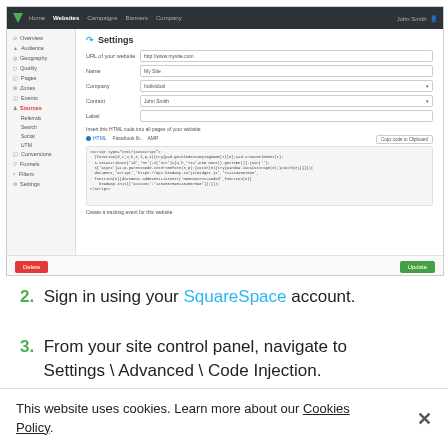[Figure (screenshot): Screenshot of a website analytics/marketing platform showing the Settings page. Top navigation bar with Home, Websites (active), Campaigns, Banners, Company tabs and John Smith user. Left sidebar with Overview, Audience, Geography, Quality, Pages, Zones, Events, Sources (active with Referrals, Search, Social, UTM sub-items), Conversions, Funnels, Filters, Settings. Main content shows a Settings form with URL of your website (http://www.mysite.com), Name (My Site), Company (Individual dropdown), Contact (John Smith dropdown), Label field, HTML code insertion section with tabs (HTML, Facebook Ib, AMP), Copy code to Clipboard button, a code text area, Create a tracking event for this website link, Delete button (red) and Update button (green).]
2. Sign in using your SquareSpace account.
3. From your site control panel, navigate to Settings \ Advanced \ Code Injection.
This website uses cookies. Learn more about our Cookies Policy.